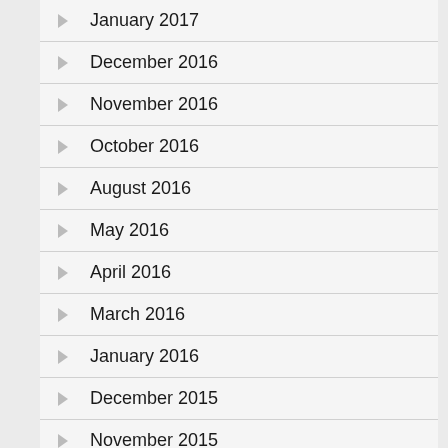January 2017
December 2016
November 2016
October 2016
August 2016
May 2016
April 2016
March 2016
January 2016
December 2015
November 2015